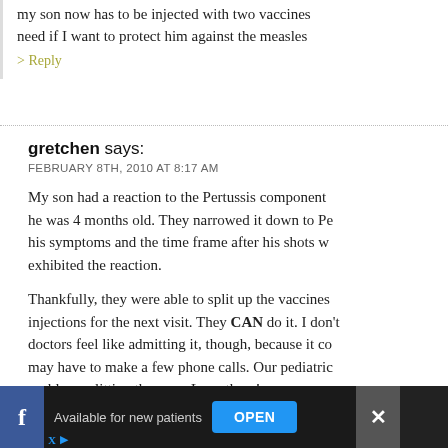my son now has to be injected with two vaccines need if I want to protect him against the measles
> Reply
gretchen says:
FEBRUARY 8TH, 2010 AT 8:17 AM
My son had a reaction to the Pertussis component he was 4 months old. They narrowed it down to Pe his symptoms and the time frame after his shots w exhibited the reaction.
Thankfully, they were able to split up the vaccines injections for the next visit. They CAN do it. I don't doctors feel like admitting it, though, because it co may have to make a few phone calls. Our pediatric problem splitting them up. Love them!
I am worried that he is not protected against Pertu Pertussis is one of the more dangerous viruses. He with lung issues when he was born, so it's frequent
Available for new patients   OPEN